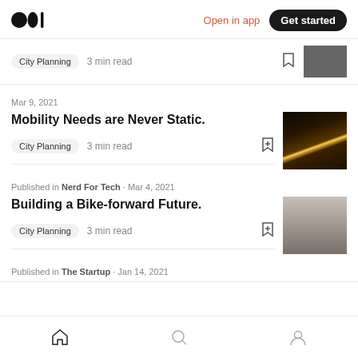Medium logo | Open in app | Get started
City Planning  3 min read
Mar 9, 2021
Mobility Needs are Never Static.
City Planning  3 min read
Published in Nerd For Tech · Mar 4, 2021
Building a Bike-forward Future.
City Planning  3 min read
Published in The Startup · Jan 14, 2021